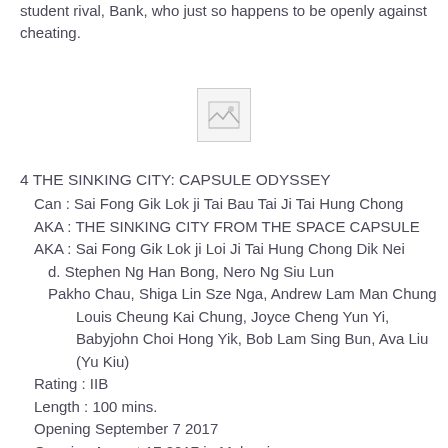student rival, Bank, who just so happens to be openly against cheating.
[Figure (other): Broken image placeholder icon]
4 THE SINKING CITY: CAPSULE ODYSSEY
  Can : Sai Fong Gik Lok ji Tai Bau Tai Ji Tai Hung Chong
  AKA : THE SINKING CITY FROM THE SPACE CAPSULE
  AKA : Sai Fong Gik Lok ji Loi Ji Tai Hung Chong Dik Nei
    d. Stephen Ng Han Bong, Nero Ng Siu Lun
    Pakho Chau, Shiga Lin Sze Nga, Andrew Lam Man Chung
      Louis Cheung Kai Chung, Joyce Cheng Yun Yi,
      Babyjohn Choi Hong Yik, Bob Lam Sing Bun, Ava Liu (Yu Kiu)
  Rating : IIB
  Length : 100 mins.
  Opening September 7 2017
  Opening August 17 2017 in Malaysia
  Site : http://www.china3d8078.com/film/detail.html?film_id=54
  Trailer : https://youtu.be/rxdkqC4TQQc